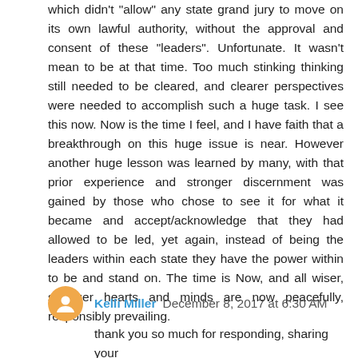which didn't "allow" any state grand jury to move on its own lawful authority, without the approval and consent of these "leaders". Unfortunate. It wasn't mean to be at that time. Too much stinking thinking still needed to be cleared, and clearer perspectives were needed to accomplish such a huge task. I see this now. Now is the time I feel, and I have faith that a breakthrough on this huge issue is near. However another huge lesson was learned by many, with that prior experience and stronger discernment was gained by those who chose to see it for what it became and accept/acknowledge that they had allowed to be led, yet again, instead of being the leaders within each state they have the power within to be and stand on. The time is Now, and all wiser, stronger hearts and minds are now peacefully, responsibly prevailing.
Kelli Miller  December 8, 2017 at 6:30 AM
thank you so much for responding, sharing your